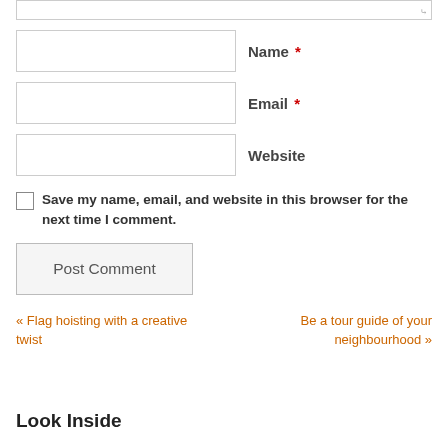[Figure (screenshot): Web form snippet showing a textarea (cropped at top), followed by Name, Email, Website input fields with labels, a checkbox for saving browser info, a Post Comment button, navigation links to previous and next posts, and a Look Inside section header.]
Name *
Email *
Website
Save my name, email, and website in this browser for the next time I comment.
Post Comment
« Flag hoisting with a creative twist
Be a tour guide of your neighbourhood »
Look Inside